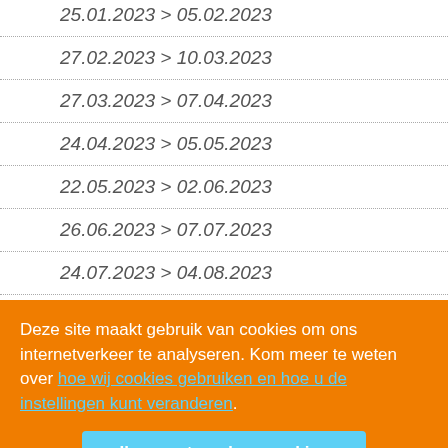25.01.2023 > 05.02.2023
27.02.2023 > 10.03.2023
27.03.2023 > 07.04.2023
24.04.2023 > 05.05.2023
22.05.2023 > 02.06.2023
26.06.2023 > 07.07.2023
24.07.2023 > 04.08.2023
28.08.2023 > 08.09.2023
Deze site maakt gebruik van cookies om ons internetverkeer te analyseren. Kom meer te weten over hoe wij cookies gebruiken en hoe u de instellingen kunt veranderen.
Ik accepteer deze cookies
Ik wijs deze cookies af
22.01.2024 > 02.02.2024